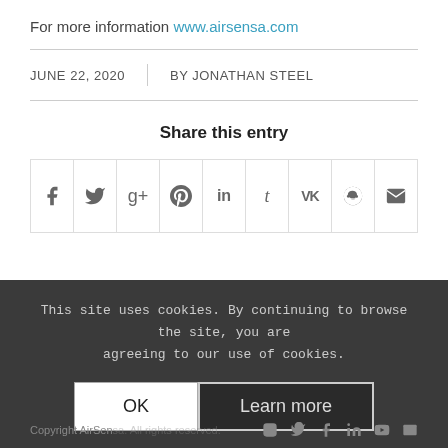For more information www.airsensa.com
JUNE 22, 2020  |  BY JONATHAN STEEL
Share this entry
[Figure (other): Social media share icon buttons: Facebook, Twitter, Google+, Pinterest, LinkedIn, Tumblr, VK, Reddit, Email]
This site uses cookies. By continuing to browse the site, you are agreeing to our use of cookies.
OK  |  Learn more
Copyright AirSensa. All rights reserved.